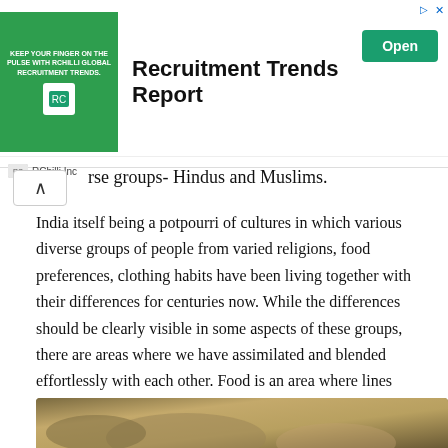[Figure (screenshot): Advertisement banner for RChilli Inc showing 'Recruitment Trends Report' with green background image, Open button, and RChilli Inc branding]
rse groups- Hindus and Muslims.
India itself being a potpourri of cultures in which various diverse groups of people from varied religions, food preferences, clothing habits have been living together with their differences for centuries now. While the differences should be clearly visible in some aspects of these groups, there are areas where we have assimilated and blended effortlessly with each other. Food is an area where lines become blurry often and this results into many dishes that becomes signature dishes of those states, cities, or districts.
[Figure (photo): Bottom portion of a food photograph showing what appears to be a dish, partially visible at the bottom of the page]